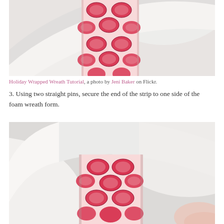[Figure (photo): Close-up photo of a white foam wreath form with a strip of pink and red oval-patterned fabric pinned across it, on a white background.]
Holiday Wrapped Wreath Tutorial, a photo by Jeni Baker on Flickr.
3. Using two straight pins, secure the end of the strip to one side of the foam wreath form.
[Figure (photo): Second close-up photo of a white foam wreath form with the same pink and red oval-patterned fabric strip wrapped and pinned around it, showing fingers holding the fabric.]